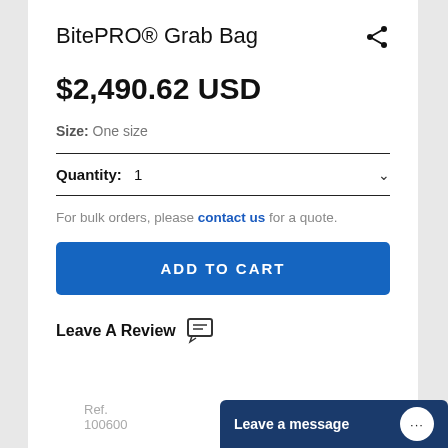BitePRO® Grab Bag
$2,490.62 USD
Size: One size
Quantity: 1
For bulk orders, please contact us for a quote.
ADD TO CART
Leave A Review
Ref. 100600
Leave a message